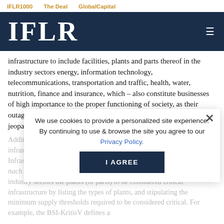IFLR1000   The Deal   GlobalCapital
[Figure (logo): IFLR logo in white on dark navy blue header banner with hamburger menu icon]
infrastructure to include facilities, plants and parts thereof in the industry sectors energy, information technology, telecommunications, transportation and traffic, health, water, nutrition, finance and insurance, which – also constitute businesses of high importance to the proper functioning of society, as their outage or impairment would cause substantial supply shortfalls or jeopardise public security.
Additional BSIG regulations further determine what constitutes critical infrastructure. The Ordinance on the Determination of Critical Infrastructure (Verordnung zur Bestimmung Kritischer Infrastrukturen nach dem BSIG or BSI-KritisV) identifies for each of the seven critical industry sectors the plants (or parts) to be considered critical infrastructure by listing the types of plants, and stipulating the minimum supply thresholds required to be considered critical. For example, the BSI-KritisV defines a
We use cookies to provide a personalized site experience. By continuing to use & browse the site you agree to our Privacy Policy.
I AGREE